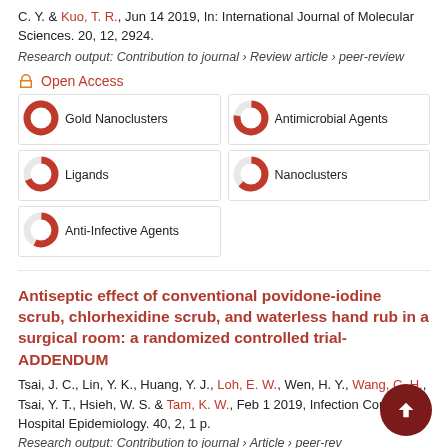C. Y. & Kuo, T. R., Jun 14 2019, In: International Journal of Molecular Sciences. 20, 12, 2924.
Research output: Contribution to journal › Review article › peer-review
Open Access
Gold Nanoclusters
Antimicrobial Agents
Ligands
Nanoclusters
Anti-Infective Agents
Antiseptic effect of conventional povidone-iodine scrub, chlorhexidine scrub, and waterless hand rub in a surgical room: a randomized controlled trial-ADDENDUM
Tsai, J. C., Lin, Y. K., Huang, Y. J., Loh, E. W., Wen, H. Y., Wang, C. H., Tsai, Y. T., Hsieh, W. S. & Tam, K. W., Feb 1 2019, Infection Control and Hospital Epidemiology. 40, 2, 1 p.
Research output: Contribution to journal › Article › peer-review